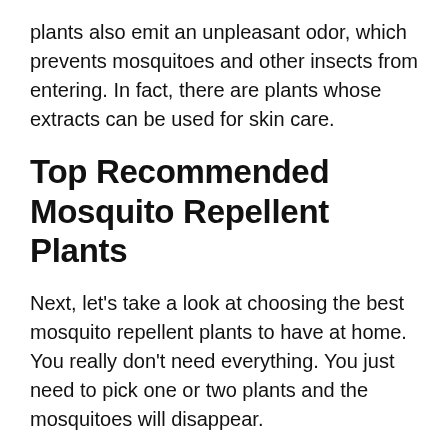plants also emit an unpleasant odor, which prevents mosquitoes and other insects from entering. In fact, there are plants whose extracts can be used for skin care.
Top Recommended Mosquito Repellent Plants
Next, let's take a look at choosing the best mosquito repellent plants to have at home. You really don't need everything. You just need to pick one or two plants and the mosquitoes will disappear.
1. Lavender
Let's get started with our pick of the most beautiful mosquito repellent plants. You must have heard that lavender extract is used in mosquito repellent, right? Yes, the truth is that the smell of lavender emanating from linoleum and linoleum is not liked by